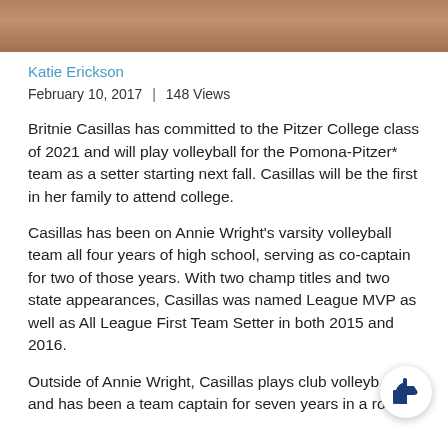[Figure (photo): Cropped photo strip at top of page, showing blurred figures in warm brown/orange tones]
Katie Erickson
February 10, 2017  |  148 Views
Britnie Casillas has committed to the Pitzer College class of 2021 and will play volleyball for the Pomona-Pitzer* team as a setter starting next fall. Casillas will be the first in her family to attend college.
Casillas has been on Annie Wright's varsity volleyball team all four years of high school, serving as co-captain for two of those years. With two champ titles and two state appearances, Casillas was named League MVP as well as All League First Team Setter in both 2015 and 2016.
Outside of Annie Wright, Casillas plays club volleyball and has been a team captain for seven years in a row...